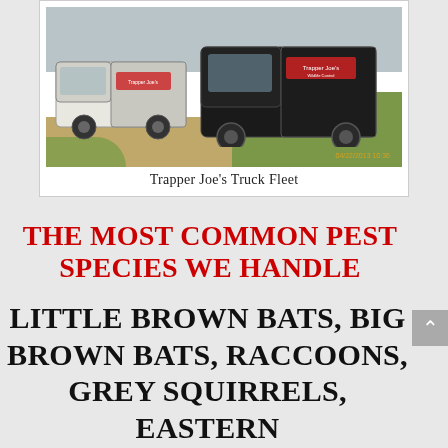[Figure (photo): Two white and black branded trucks (Trapper Joe's) parked on a dirt lot with grass in the background. A timestamp reads 04/22/2013 10:36 in the bottom right of the photo.]
Trapper Joe's Truck Fleet
THE MOST COMMON PEST SPECIES WE HANDLE
LITTLE BROWN BATS, BIG BROWN BATS, RACCOONS, GREY SQUIRRELS, EASTERN MOLES, PIGEONS, WOODPECKERS,